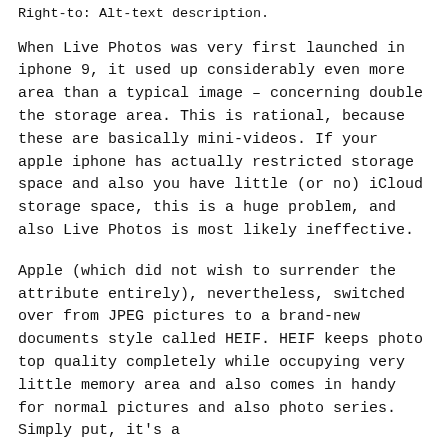Right-to: Alt-text description.
When Live Photos was very first launched in iphone 9, it used up considerably even more area than a typical image – concerning double the storage area. This is rational, because these are basically mini-videos. If your apple iphone has actually restricted storage space and also you have little (or no) iCloud storage space, this is a huge problem, and also Live Photos is most likely ineffective.
Apple (which did not wish to surrender the attribute entirely), nevertheless, switched over from JPEG pictures to a brand-new documents style called HEIF. HEIF keeps photo top quality completely while occupying very little memory area and also comes in handy for normal pictures and also photo series. Simply put, it's a